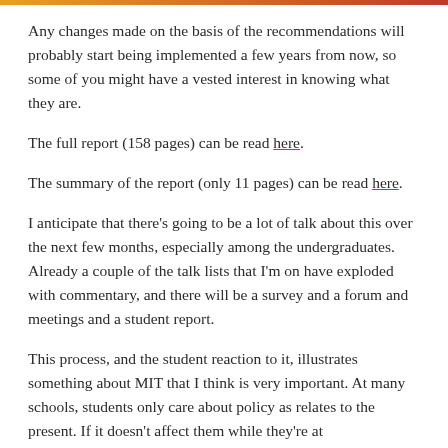Any changes made on the basis of the recommendations will probably start being implemented a few years from now, so some of you might have a vested interest in knowing what they are.
The full report (158 pages) can be read here.
The summary of the report (only 11 pages) can be read here.
I anticipate that there's going to be a lot of talk about this over the next few months, especially among the undergraduates. Already a couple of the talk lists that I'm on have exploded with commentary, and there will be a survey and a forum and meetings and a student report.
This process, and the student reaction to it, illustrates something about MIT that I think is very important. At many schools, students only care about policy as relates to the present. If it doesn't affect them while they're at